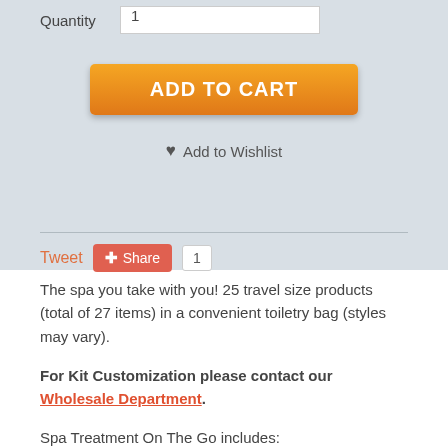Quantity  1
[Figure (screenshot): Orange 'ADD TO CART' button]
♥ Add to Wishlist
Tweet  Share  1
The spa you take with you! 25 travel size products (total of 27 items) in a convenient toiletry bag (styles may vary).
For Kit Customization please contact our Wholesale Department.
Spa Treatment On The Go includes: